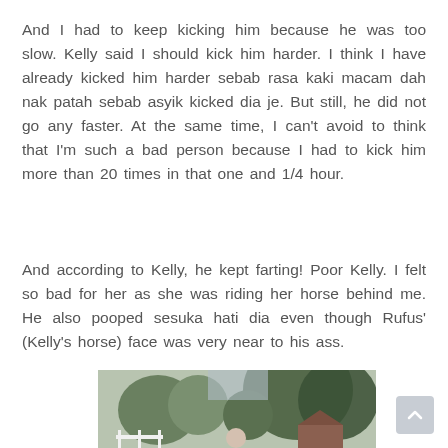And I had to keep kicking him because he was too slow. Kelly said I should kick him harder. I think I have already kicked him harder sebab rasa kaki macam dah nak patah sebab asyik kicked dia je. But still, he did not go any faster. At the same time, I can't avoid to think that I'm such a bad person because I had to kick him more than 20 times in that one and 1/4 hour.
And according to Kelly, he kept farting! Poor Kelly. I felt so bad for her as she was riding her horse behind me. He also pooped sesuka hati dia even though Rufus' (Kelly's horse) face was very near to his ass.
[Figure (photo): A person standing outdoors near a white fence with trees and a barn in the background.]